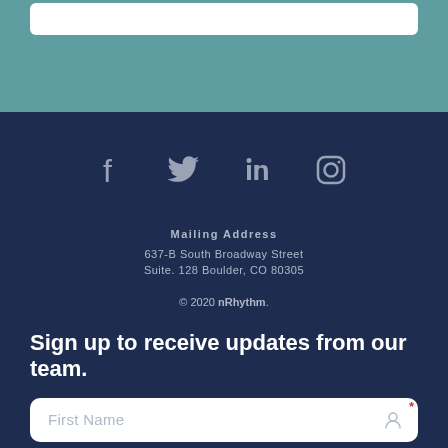[Figure (screenshot): Teal background section with a white rounded input bar near the top]
[Figure (infographic): Social media icons: Facebook, Twitter, LinkedIn, Instagram in grey on dark navy background]
Mailing Address
637-B South Broadway Street
Suite. 128 Boulder, CO 80305
© 2020 nRhythm.
Sign up to receive updates from our team.
First Name